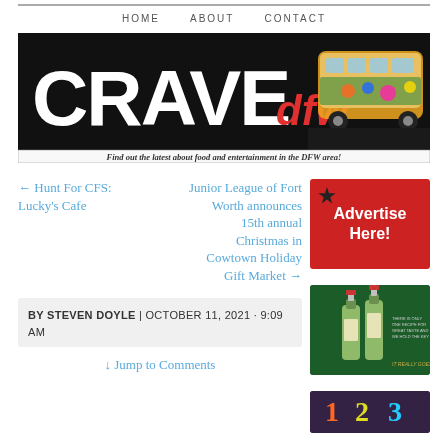HOME   ABOUT   CONTACT
[Figure (logo): CRAVE dfw banner logo with colorful bus on dark background and tagline: Find out the latest about food and entertainment in the DFW area!]
← Hunt For CFS: Lucky's Cafe
Junior League of Fort Worth announces 15th annual Christmas in Cowtown Holiday Gift Market →
BY STEVEN DOYLE | OCTOBER 11, 2021 · 9:09 AM
[Figure (illustration): Red Advertise Here! advertisement button with star icon]
[Figure (photo): Two green whiskey bottles on dark green background advertisement]
↓ Jump to Comments
[Figure (photo): Partial advertisement image at bottom right, colorful with numbers]